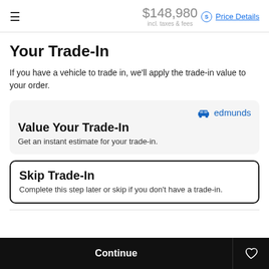≡  $148,980 incl. taxes & fees  Price Details
Your Trade-In
If you have a vehicle to trade in, we'll apply the trade-in value to your order.
Value Your Trade-In
Get an instant estimate for your trade-in.
Skip Trade-In
Complete this step later or skip if you don't have a trade-in.
Continue